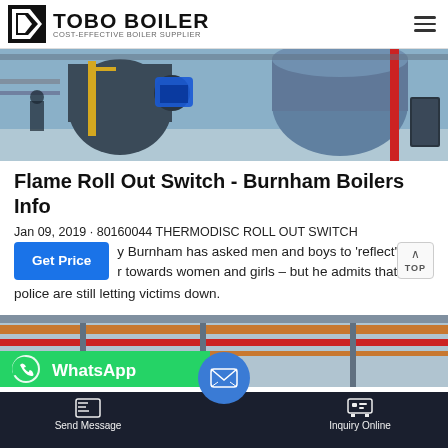[Figure (logo): Tobo Boiler logo with icon and text: TOBO BOILER, COST-EFFECTIVE BOILER SUPPLIER]
[Figure (photo): Industrial boiler room with large cylindrical boilers, blue motor, yellow and red pipes]
Flame Roll Out Switch - Burnham Boilers Info
Jan 09, 2019 · 80160044 THERMODISC ROLL OUT SWITCH
y Burnham has asked men and boys to 'reflect' o towards women and girls – but he admits that th police are still letting victims down.
[Figure (photo): Industrial boiler room with pipes, including orange and red pipes on ceiling]
[Figure (other): WhatsApp green bar with icon and label 'WhatsApp']
Send Message   Inquiry Online